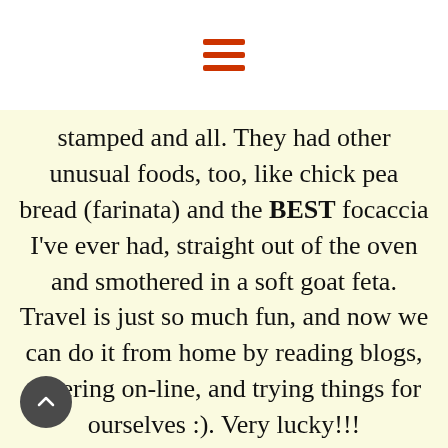[Figure (other): Hamburger menu icon with three horizontal red bars]
stamped and all. They had other unusual foods, too, like chick pea bread (farinata) and the BEST focaccia I've ever had, straight out of the oven and smothered in a soft goat feta. Travel is just so much fun, and now we can do it from home by reading blogs, ordering on-line, and trying things for ourselves :). Very lucky!!!